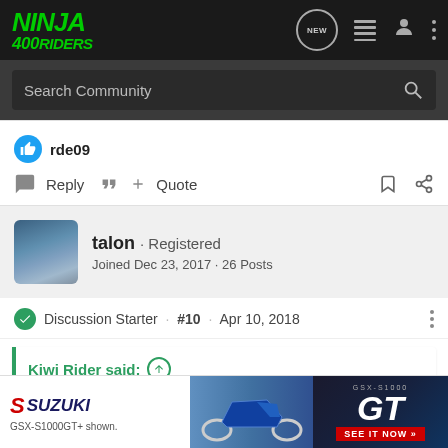NINJA 400RIDERS
Search Community
rde09
Reply   Quote
talon · Registered
Joined Dec 23, 2017 · 26 Posts
Discussion Starter · #10 · Apr 10, 2018
Kiwi Rider said:
Good job! Hey you can lighten the bike up even further with a few mods to make it even more agreeable for you.
http://www.ninja400riders.com/forum.../forum/1171-weight-reducing-modific...
[Figure (screenshot): Suzuki GSX-S1000GT advertisement banner at bottom of page]